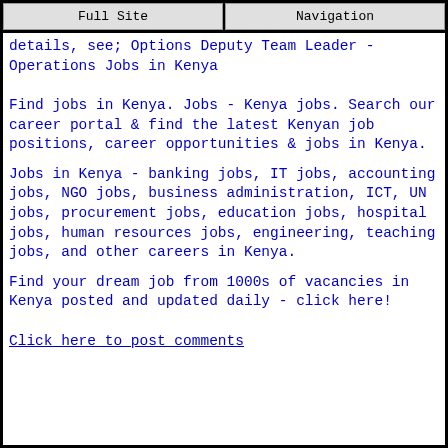Full Site | Navigation
details, see; Options Deputy Team Leader - Operations Jobs in Kenya
Find jobs in Kenya. Jobs - Kenya jobs. Search our career portal & find the latest Kenyan job positions, career opportunities & jobs in Kenya.
Jobs in Kenya - banking jobs, IT jobs, accounting jobs, NGO jobs, business administration, ICT, UN jobs, procurement jobs, education jobs, hospital jobs, human resources jobs, engineering, teaching jobs, and other careers in Kenya.
Find your dream job from 1000s of vacancies in Kenya posted and updated daily - click here!
Click here to post comments